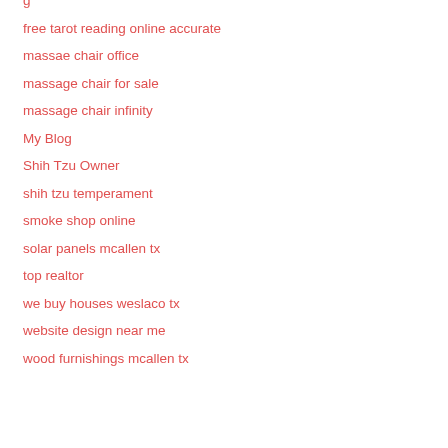g
free tarot reading online accurate
massae chair office
massage chair for sale
massage chair infinity
My Blog
Shih Tzu Owner
shih tzu temperament
smoke shop online
solar panels mcallen tx
top realtor
we buy houses weslaco tx
website design near me
wood furnishings mcallen tx